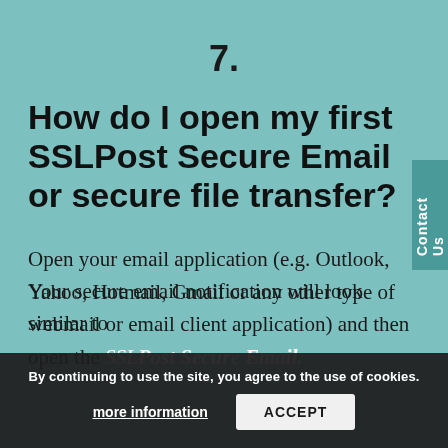7.
How do I open my first SSLPost Secure Email or secure file transfer?
Open your email application (e.g. Outlook, Yahoo, Hotmail, Gmail or any other type of webmail or email client application) and then open the SSLPost Secure Email.
Your secure email notification will look similar to one of the following:
By continuing to use the site, you agree to the use of cookies. more information ACCEPT